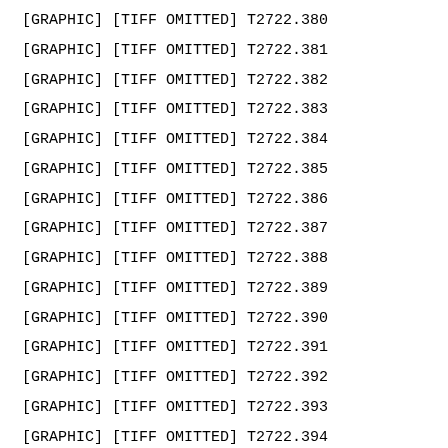[GRAPHIC] [TIFF OMITTED] T2722.380
[GRAPHIC] [TIFF OMITTED] T2722.381
[GRAPHIC] [TIFF OMITTED] T2722.382
[GRAPHIC] [TIFF OMITTED] T2722.383
[GRAPHIC] [TIFF OMITTED] T2722.384
[GRAPHIC] [TIFF OMITTED] T2722.385
[GRAPHIC] [TIFF OMITTED] T2722.386
[GRAPHIC] [TIFF OMITTED] T2722.387
[GRAPHIC] [TIFF OMITTED] T2722.388
[GRAPHIC] [TIFF OMITTED] T2722.389
[GRAPHIC] [TIFF OMITTED] T2722.390
[GRAPHIC] [TIFF OMITTED] T2722.391
[GRAPHIC] [TIFF OMITTED] T2722.392
[GRAPHIC] [TIFF OMITTED] T2722.393
[GRAPHIC] [TIFF OMITTED] T2722.394
[GRAPHIC] [TIFF OMITTED] T2722.395